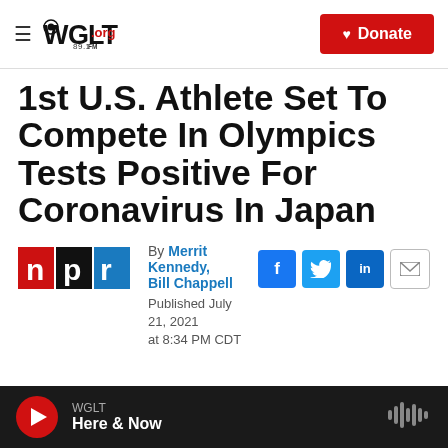WGLT.org 89.1FM | Donate
1st U.S. Athlete Set To Compete In Olympics Tests Positive For Coronavirus In Japan
By Merrit Kennedy, Bill Chappell
Published July 21, 2021 at 8:34 PM CDT
WGLT — Here & Now